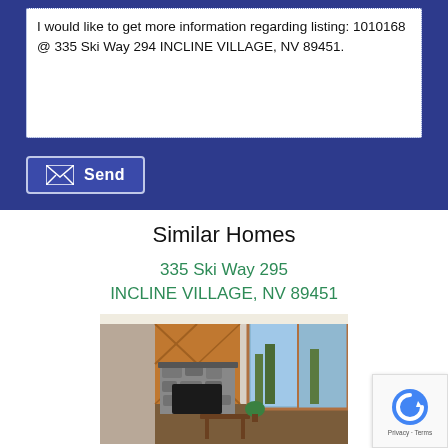I would like to get more information regarding listing: 1010168 @ 335 Ski Way 294 INCLINE VILLAGE, NV 89451.
Send
Similar Homes
335 Ski Way 295
INCLINE VILLAGE, NV 89451
[Figure (photo): Interior photo of a living room with a stone fireplace, wood-paneled wall, hardwood floors, a small coffee table, a plant, and large sliding glass doors leading to an outdoor deck.]